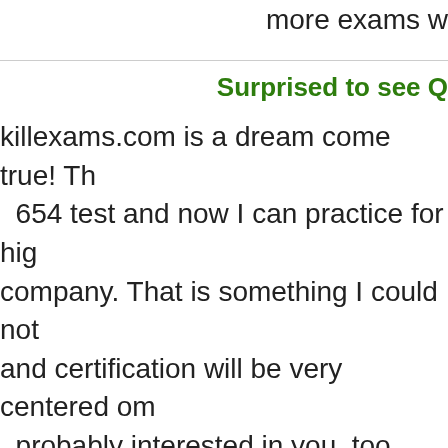more exams w
Surprised to see Q
killexams.com is a dream come true! Th 654 test and now I can practice for hig company. That is something I could not and certification will be very centered om probably interested in you, too. The rea you are a great candidate. killexams.com maximum of the questions right. All sub have any important troubles even as tab are panic and a little misleading, but kille